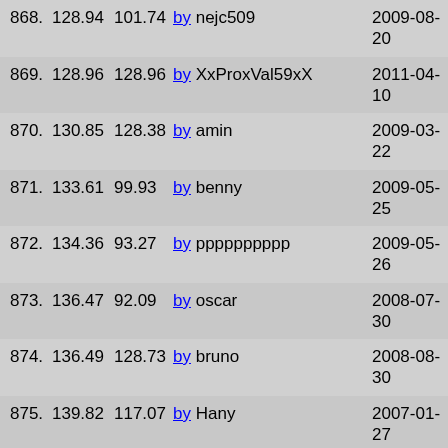| 868. | 128.94 | 101.74 | by nejc509 | 2009-08-20 |
| 869. | 128.96 | 128.96 | by XxProxVal59xX | 2011-04-10 |
| 870. | 130.85 | 128.38 | by amin | 2009-03-22 |
| 871. | 133.61 | 99.93 | by benny | 2009-05-25 |
| 872. | 134.36 | 93.27 | by pppppppppp | 2009-05-26 |
| 873. | 136.47 | 92.09 | by oscar | 2008-07-30 |
| 874. | 136.49 | 128.73 | by bruno | 2008-08-30 |
| 875. | 139.82 | 117.07 | by Hany | 2007-01-27 |
| 876. | 150.98 | 150.84 | by Tsanummy | 2007-03-04 |
| 877. | 152.79 | 123.71 | by jf | 2007-03-02 |
| 878. | 166.27 | 166.27 | by Damien | 2008-10-08 |